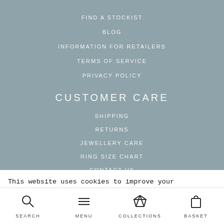FIND A STOCKIST
BLOG
INFORMATION FOR RETAILERS
TERMS OF SERVICE
PRIVACY POLICY
CUSTOMER CARE
SHIPPING
RETURNS
JEWELLERY CARE
RING SIZE CHART
CONTACT US
CALL NOW: 01684 594562
This website uses cookies to improve your experience. We'll assume you're ok with this, but you can opt-out if you wish.
Cookie settings
SEARCH  MENU  COLLECTIONS  BASKET